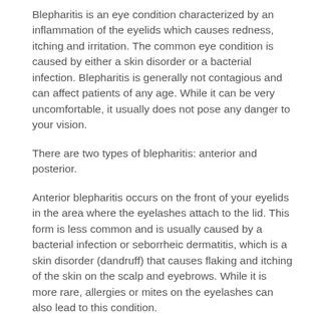Blepharitis is an eye condition characterized by an inflammation of the eyelids which causes redness, itching and irritation. The common eye condition is caused by either a skin disorder or a bacterial infection. Blepharitis is generally not contagious and can affect patients of any age. While it can be very uncomfortable, it usually does not pose any danger to your vision.
There are two types of blepharitis: anterior and posterior.
Anterior blepharitis occurs on the front of your eyelids in the area where the eyelashes attach to the lid. This form is less common and is usually caused by a bacterial infection or seborrheic dermatitis, which is a skin disorder (dandruff) that causes flaking and itching of the skin on the scalp and eyebrows. While it is more rare, allergies or mites on the eyelashes can also lead to this condition.
Posterior blepharitis occurs on the inner eyelid that is closer to the actual eyeball. This more common form is often caused by rosacea, dandruff or meibomian gland problems which affect the production of oil in your eyelids.